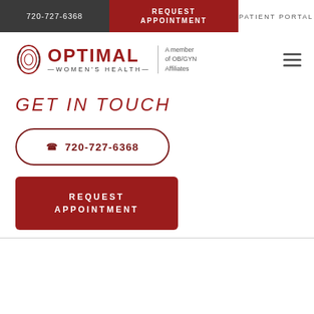720-727-6368 | REQUEST APPOINTMENT | PATIENT PORTAL
[Figure (logo): Optimal Women's Health logo with spiral icon and tagline 'A member of OB/GYN Affiliates']
GET IN TOUCH
📞 720-727-6368
REQUEST APPOINTMENT